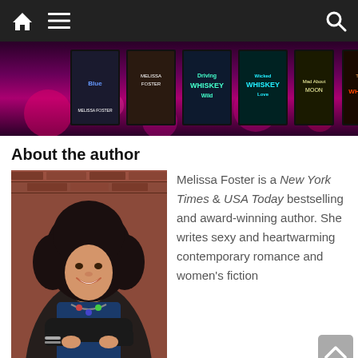Navigation bar with home, menu, and search icons
[Figure (photo): Row of book covers by Melissa Foster on dark pink/purple background with bokeh lights: Blue, Melissa Foster title, Driving Whiskey Wild, Wicked Whiskey Love, Mad About Moon, Taming My Whiskey]
About the author
[Figure (photo): Photo of Melissa Foster, a woman with long curly dark hair, smiling, wearing a blue top and colorful necklace, arms crossed, leaning against a brick wall]
Melissa Foster is a New York Times & USA Today bestselling and award-winning author. She writes sexy and heartwarming contemporary romance and women's fiction